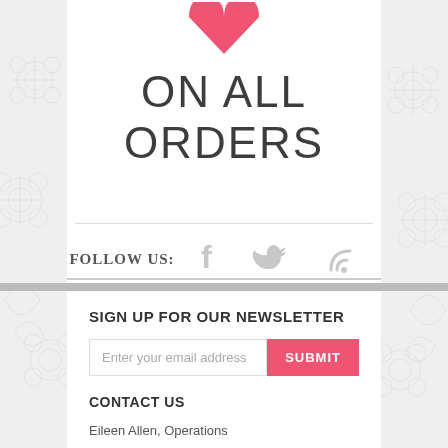[Figure (illustration): Pink/coral downward-pointing heart shape at top center of white panel]
ON ALL ORDERS
FOLLOW US:
[Figure (other): Social media icons: Facebook (f), Twitter (bird), RSS feed icons in gray]
SIGN UP FOR OUR NEWSLETTER
Enter your email address
SUBMIT
CONTACT US
Eileen Allen, Operations Manager
E-mail:
eileen@nailsavers.com
Phone: (801) 755-6339